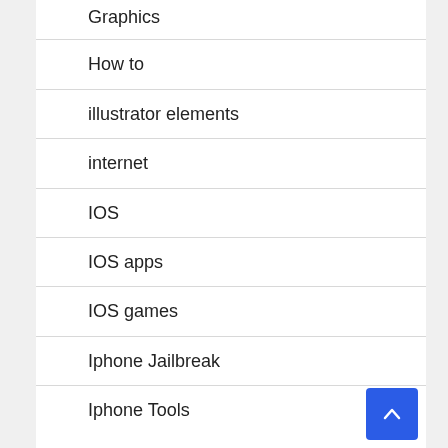Graphics
How to
illustrator elements
internet
IOS
IOS apps
IOS games
Iphone Jailbreak
Iphone Tools